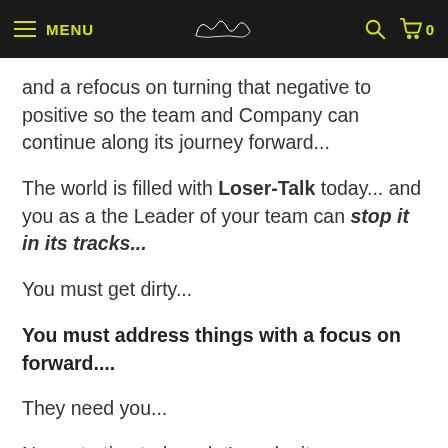MENU [logo] [search icon] [cart] 0
and a refocus on turning that negative to positive so the team and Company can continue along its journey forward...
The world is filled with Loser-Talk today... and you as a the Leader of your team can stop it in its tracks...
You must get dirty...
You must address things with a focus on forward....
They need you...
Now, starting today... let's make it